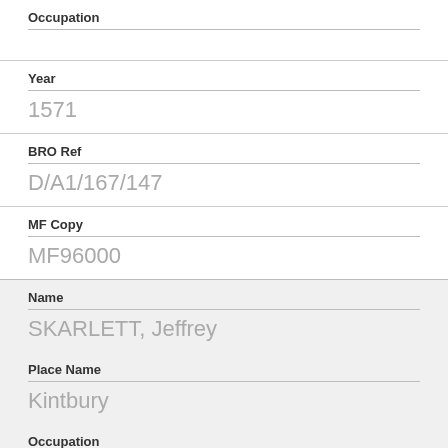Occupation
Year
1571
BRO Ref
D/A1/167/147
MF Copy
MF96000
Name
SKARLETT, Jeffrey
Place Name
Kintbury
Occupation
Husbandman